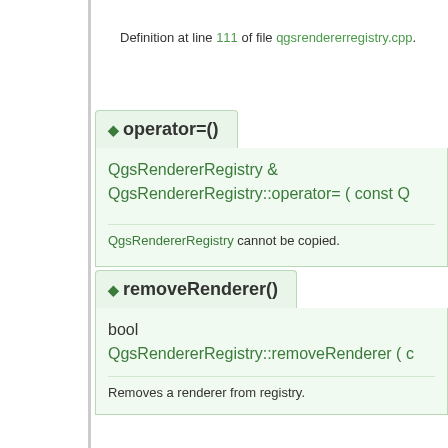Definition at line 111 of file qgsrendererregistry.cpp.
◆ operator=()
QgsRendererRegistry & QgsRendererRegistry::operator= ( const Q
QgsRendererRegistry cannot be copied.
◆ removeRenderer()
bool QgsRendererRegistry::removeRenderer ( c
Removes a renderer from registry.